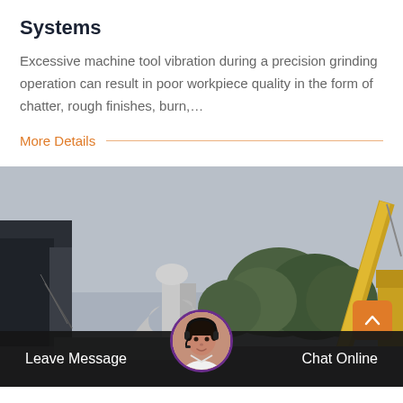Systems
Excessive machine tool vibration during a precision grinding operation can result in poor workpiece quality in the form of chatter, rough finishes, burn,…
More Details
[Figure (photo): Industrial outdoor scene showing machinery, pipes, trees, and a yellow crane against a cloudy sky]
Leave Message
Chat Online